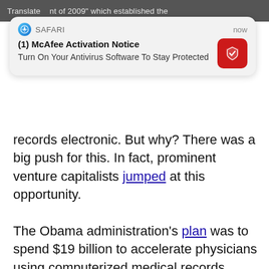...nt of 2009" which established the...
[Figure (screenshot): Safari browser notification popup: '(1) McAfee Activation Notice - Turn On Your Antivirus Software To Stay Protected', with McAfee red shield logo icon, timestamped 'now']
records electronic. But why? There was a big push for this. In fact, prominent venture capitalists jumped at this opportunity.
The Obama administration's plan was to spend $19 billion to accelerate physicians using computerized medical records. Supposedly the physician incentive was for more than $40,000 spread over a few years for a physician who buys and uses the electronic health records. Physicians will only be paid for “meaningful use” of digital records. The Primary Care Information Project in NYC was the “model”, headed by Dr. Farzad Mostashari, an assistant commissioner in the city’s health department at the time. The NY project’s brief history began in 2007 with $27 million in